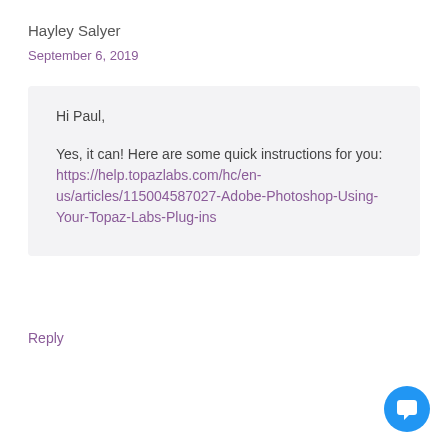Hayley Salyer
September 6, 2019
Hi Paul,

Yes, it can! Here are some quick instructions for you: https://help.topazlabs.com/hc/en-us/articles/115004587027-Adobe-Photoshop-Using-Your-Topaz-Labs-Plug-ins
Reply